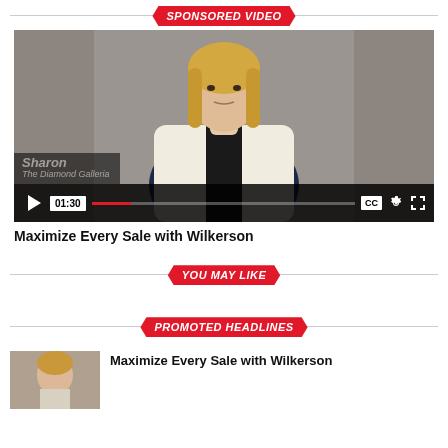SPONSORED VIDEO
[Figure (screenshot): Video player showing a woman with blonde hair seated in a chair, with video controls showing play button, 01:30 timestamp, progress bar, CC, settings, and fullscreen icons. Name overlay reads 'Sharon' and 'The Diamond Galleria'.]
Maximize Every Sale with Wilkerson
YOU MAY LIKE
PROMOTED HEADLINES
Maximize Every Sale with Wilkerson